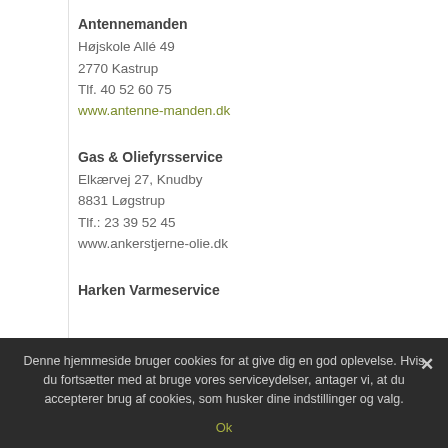Antennemanden
Højskole Allé 49
2770 Kastrup
Tlf. 40 52 60 75
www.antenne-manden.dk
Gas & Oliefyrsservice
Elkærvej 27, Knudby
8831 Løgstrup
Tlf.: 23 39 52 45
www.ankerstjerne-olie.dk
Harken Varmeservice
Denne hjemmeside bruger cookies for at give dig en god oplevelse. Hvis du fortsætter med at bruge vores serviceydelser, antager vi, at du accepterer brug af cookies, som husker dine indstillinger og valg.
Ok